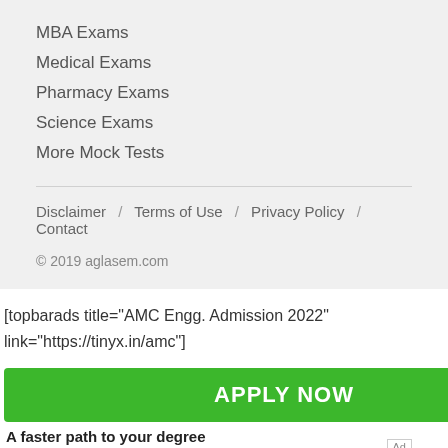MBA Exams
Medical Exams
Pharmacy Exams
Science Exams
More Mock Tests
Disclaimer / Terms of Use / Privacy Policy / Contact
© 2019 aglasem.com
[topbarads title="AMC Engg. Admission 2022" link="https://tinyx.in/amc"]
[Figure (other): Green APPLY NOW button advertisement with text 'A faster path to your degree' below it]
Ad